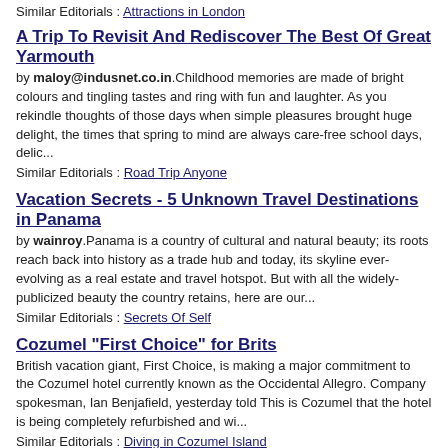Similar Editorials : Attractions in London
A Trip To Revisit And Rediscover The Best Of Great Yarmouth
by maloy@indusnet.co.in.Childhood memories are made of bright colours and tingling tastes and ring with fun and laughter. As you rekindle thoughts of those days when simple pleasures brought huge delight, the times that spring to mind are always care-free school days, delic...
Similar Editorials : Road Trip Anyone
Vacation Secrets - 5 Unknown Travel Destinations in Panama
by wainroy.Panama is a country of cultural and natural beauty; its roots reach back into history as a trade hub and today, its skyline ever-evolving as a real estate and travel hotspot. But with all the widely-publicized beauty the country retains, here are our...
Similar Editorials : Secrets Of Self
Cozumel "First Choice" for Brits
British vacation giant, First Choice, is making a major commitment to the Cozumel hotel currently known as the Occidental Allegro. Company spokesman, Ian Benjafield, yesterday told This is Cozumel that the hotel is being completely refurbished and wi...
Similar Editorials : Diving in Cozumel Island
Ireland – Fusion Of Culture And History
by IrishHotels.Ireland is a popular tourist destination. This country offers unrivalled tourist attractions. This is what makes people come back time and again to Ireland. What makes Ireland as popular as it is now among tourists? What is its charisma that makes pe...
Similar Editorials : Golf in Ireland